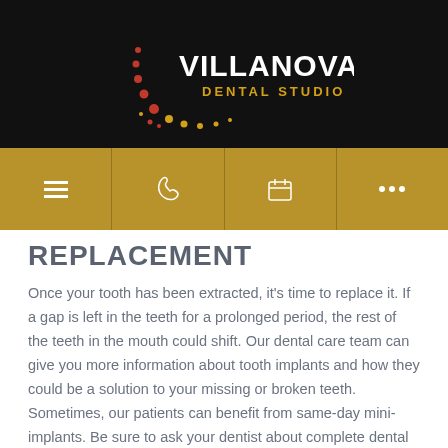[Figure (logo): Villanova Dental Studio logo with circular dot pattern in red and gold on black background]
[Figure (infographic): Golden navigation bar with hamburger menu, phone icon, calendar icon, and ellipsis icons]
REPLACEMENT
Once your tooth has been extracted, it's time to replace it. If a gap is left in the teeth for a prolonged period, the rest of the teeth in the mouth could shift. Our dental care team can give you more information about tooth implants and how they could be a solution to your missing or broken teeth. Sometimes, our patients can benefit from same-day mini-implants. Be sure to ask your dentist about complete dental implant services.
CARING FOR YOUR MOUTH